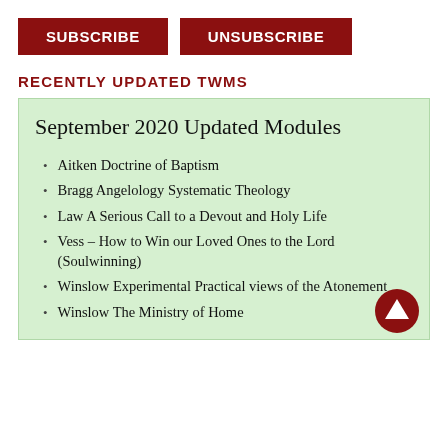[Figure (other): Two dark red buttons labeled SUBSCRIBE and UNSUBSCRIBE]
RECENTLY UPDATED TWMS
September 2020 Updated Modules
Aitken Doctrine of Baptism
Bragg Angelology Systematic Theology
Law A Serious Call to a Devout and Holy Life
Vess – How to Win our Loved Ones to the Lord (Soulwinning)
Winslow Experimental Practical views of the Atonement
Winslow The Ministry of Home